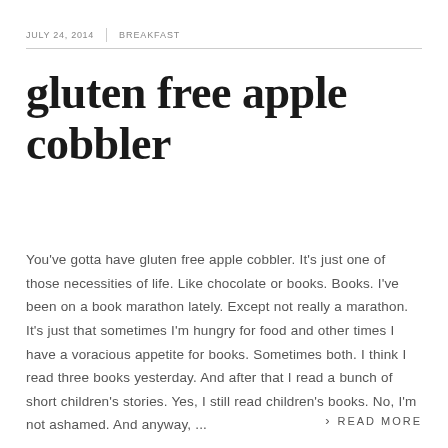JULY 24, 2014 | BREAKFAST
gluten free apple cobbler
You've gotta have gluten free apple cobbler. It's just one of those necessities of life. Like chocolate or books. Books. I've been on a book marathon lately. Except not really a marathon. It's just that sometimes I'm hungry for food and other times I have a voracious appetite for books. Sometimes both. I think I read three books yesterday. And after that I read a bunch of short children's stories. Yes, I still read children's books. No, I'm not ashamed. And anyway, ...
> READ MORE